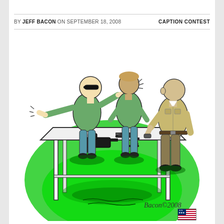BY JEFF BACON ON SEPTEMBER 18, 2008   CAPTION CONTEST
[Figure (illustration): A cartoon illustration by Jeff Bacon (Bacon©2008) showing three figures standing at a white table. On the left is a bald figure wearing sunglasses and a green shirt with arms spread wide. In the middle is a figure with hair also in a green shirt with hands behind back. On the right is a figure in a tan military/officer uniform looking at their watch. On the table are disassembled gun parts including a pistol. The background has a green glow on a white floor. A small US flag is in the bottom right corner.]